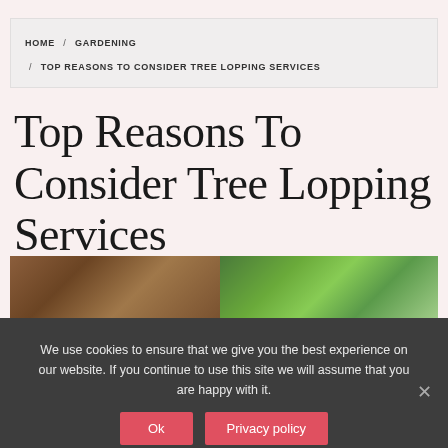HOME / GARDENING / TOP REASONS TO CONSIDER TREE LOPPING SERVICES
Top Reasons To Consider Tree Lopping Services
PUBLISHED ON SEPTEMBER 7, 2017   BY JESSE SEMMENS
[Figure (photo): Two photos side by side: left shows brown bark/wood texture, right shows green foliage/trees]
We use cookies to ensure that we give you the best experience on our website. If you continue to use this site we will assume that you are happy with it.